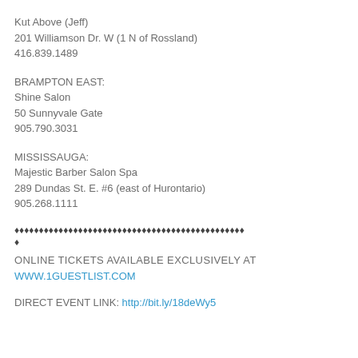Kut Above (Jeff)
201 Williamson Dr. W (1 N of Rossland)
416.839.1489
BRAMPTON EAST:
Shine Salon
50 Sunnyvale Gate
905.790.3031
MISSISSAUGA:
Majestic Barber Salon Spa
289 Dundas St. E. #6 (east of Hurontario)
905.268.1111
♦♦♦♦♦♦♦♦♦♦♦♦♦♦♦♦♦♦♦♦♦♦♦♦♦♦♦♦♦♦♦♦♦♦♦♦♦♦♦♦♦♦♦♦♦♦♦
♦
ONLINE TICKETS AVAILABLE EXCLUSIVELY AT
WWW.1GUESTLIST.COM
DIRECT EVENT LINK: http://bit.ly/18deWy5